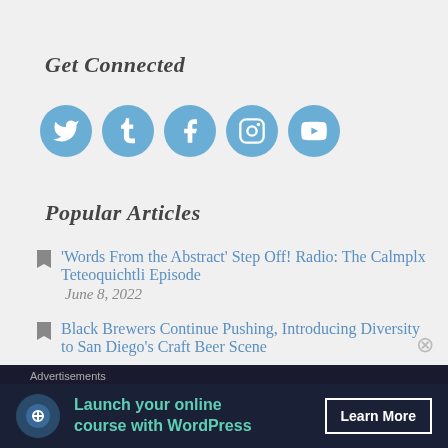Get Connected
[Figure (infographic): Five social media icon circles (Twitter, Tumblr, Facebook, Instagram, YouTube) in blue]
Popular Articles
⚑ 'Words From the Abstract' Step Off! Radio: The Calmplx Teteoquichtli Episode
June 8, 2022
⚑ Black Brewers Continue Pushing, Introducing Diversity to San Diego’s Craft Beer Scene
Advertisements
[Figure (infographic): Advertisement: Launch your online course with WordPress. Learn More button. Dark background with teal text and a logo circle.]